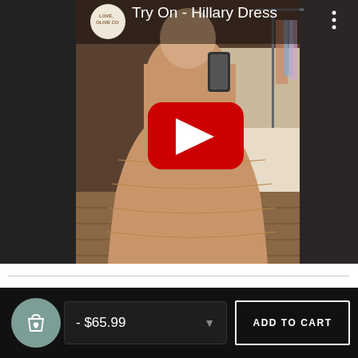[Figure (screenshot): YouTube video thumbnail showing a woman trying on the Hillary Dress – a tiered tan/caramel midi dress photographed in a mirror selfie. The video overlay shows the channel logo for 'Love Olive Co' in the top-left, the title 'Try On - Hillary Dress', a three-dot menu in the top-right, and a large red YouTube play button in the center.]
[Figure (infographic): Bottom checkout bar on dark background with a teal circular cart/wishlist icon, a price selector showing '- $65.99' with dropdown arrow, and an 'ADD TO CART' button with white border.]